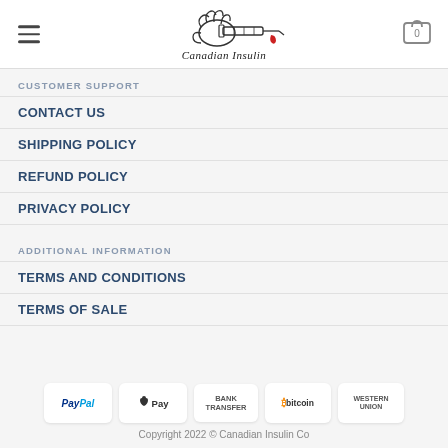[Figure (logo): Canadian Insulin logo with hand holding syringe and red drop, text 'Canadian Insulin']
CUSTOMER SUPPORT
CONTACT US
SHIPPING POLICY
REFUND POLICY
PRIVACY POLICY
ADDITIONAL INFORMATION
TERMS AND CONDITIONS
TERMS OF SALE
[Figure (logo): Payment method logos: PayPal, Apple Pay, Bank Transfer, Bitcoin, Western Union]
Copyright 2022 © Canadian Insulin Co